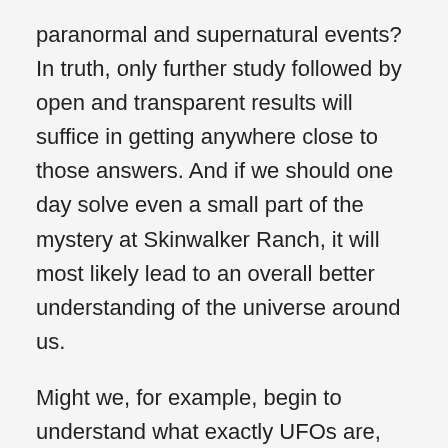paranormal and supernatural events? In truth, only further study followed by open and transparent results will suffice in getting anywhere close to those answers. And if we should one day solve even a small part of the mystery at Skinwalker Ranch, it will most likely lead to an overall better understanding of the universe around us.
Might we, for example, begin to understand what exactly UFOs are, where they are coming from, and why? Might our understanding of such things as ghosts and hauntings suddenly become clear to us, which in turn might place before our eyes what awaits us on “the other side”.
We might also go on to find that there other such locations that are hives for all manner of strange activity all around